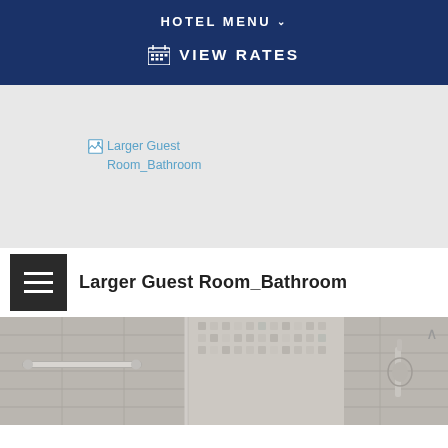HOTEL MENU
VIEW RATES
[Figure (other): Broken image placeholder for Larger Guest Room_Bathroom]
Larger Guest Room_Bathroom
[Figure (photo): Photograph of a hotel bathroom shower area with gray marble tile walls, chrome grab bar, and handheld shower fixture]